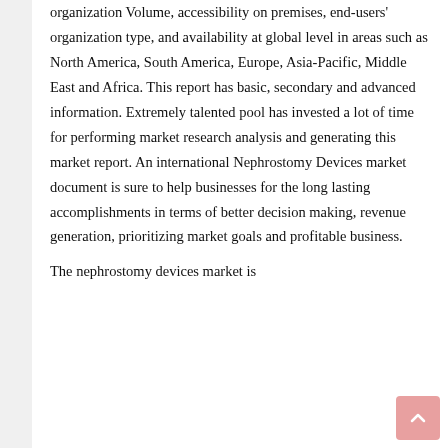organization Volume, accessibility on premises, end-users' organization type, and availability at global level in areas such as North America, South America, Europe, Asia-Pacific, Middle East and Africa. This report has basic, secondary and advanced information. Extremely talented pool has invested a lot of time for performing market research analysis and generating this market report. An international Nephrostomy Devices market document is sure to help businesses for the long lasting accomplishments in terms of better decision making, revenue generation, prioritizing market goals and profitable business.
The nephrostomy devices market is